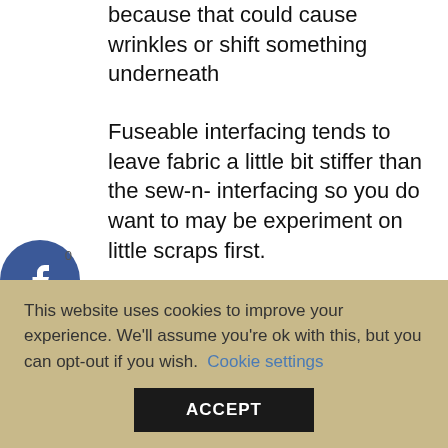because that could cause wrinkles or shift something underneath
Fuseable interfacing tends to leave fabric a little bit stiffer than the sew-in- interfacing so you do want to may be experiment on little scraps first.
This is to make sure it's going to ave the stability that you want it to
This website uses cookies to improve your experience. We'll assume you're ok with this, but you can opt-out if you wish. Cookie settings ACCEPT